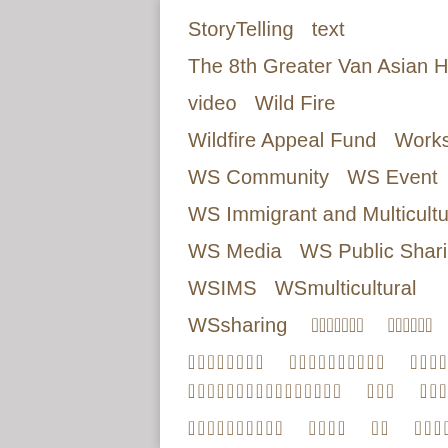StoryTelling   text
The 8th Greater Van Asian Herita...
video   Wild Fire
Wildfire Appeal Fund   Workshop
WS Community   WS Event
WS Immigrant and Multicultural ...
WS Media   WS Public Sharing
WSIMS   WSmulticultural
WSsharing   [non-Latin tags]
Follow Us